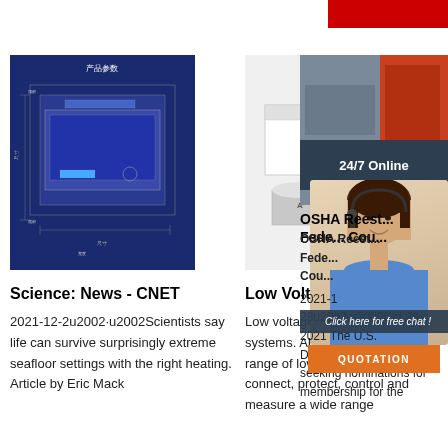[Figure (photo): Red bar in top right corner]
[Figure (photo): Industrial machine with blue background showing Chinese text 产品参数]
[Figure (photo): Low voltage adhesive products - white box, glue containers with Chinese text 用胶点]
[Figure (photo): Industrial machinery photo on right side]
[Figure (photo): 24/7 Online customer service chat widget with woman wearing headset, Click here for free chat, QUOTATION button]
Science: News - CNET
2021-12-2u2002·u2002Scientists say life can survive surprisingly extreme seafloor settings with the right heating. Article by Eric Mack
Low Voltage Products
Low voltage products and systems. ABB provides a full range of low voltage solutions to connect, protect, control and measure a wide range of electronics.
OSHA Reestablishes Federal Advisory Council...
2021-1 28u2002·u2002Oct 28, 2021 The U.S. Department of Labor is seeking nominations for membership for the